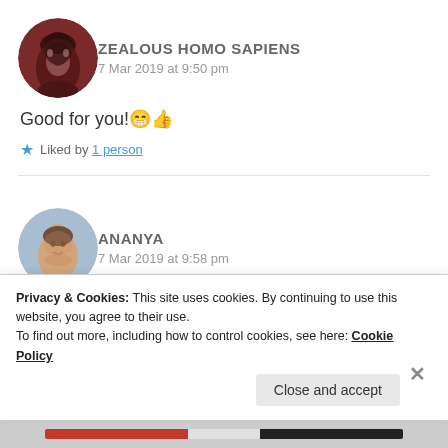[Figure (photo): Circular avatar photo of 'Zealous Homo Sapiens' - person with dark hair against red/brown background]
ZEALOUS HOMO SAPIENS
7 Mar 2019 at 9:50 pm
Good for you! 😊 👍
★ Liked by 1 person
[Figure (photo): Circular avatar photo of 'Ananya' - person smiling with blue/grey background]
ANANYA
7 Mar 2019 at 9:58 pm
Privacy & Cookies: This site uses cookies. By continuing to use this website, you agree to their use.
To find out more, including how to control cookies, see here: Cookie Policy
Close and accept